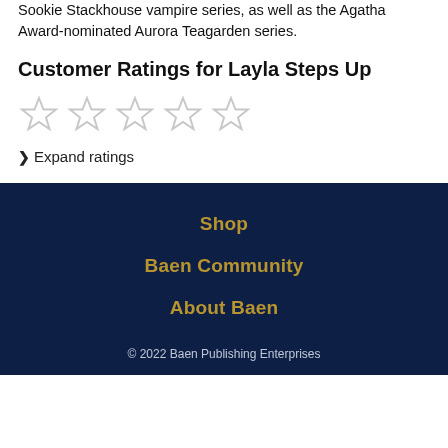Sookie Stackhouse vampire series, as well as the Agatha Award-nominated Aurora Teagarden series.
Customer Ratings for Layla Steps Up
[Figure (other): Five empty/outline star rating icons displayed in a row, indicating no ratings filled in.]
❯ Expand ratings
Shop
Baen Community
About Baen
© 2022 Baen Publishing Enterprises